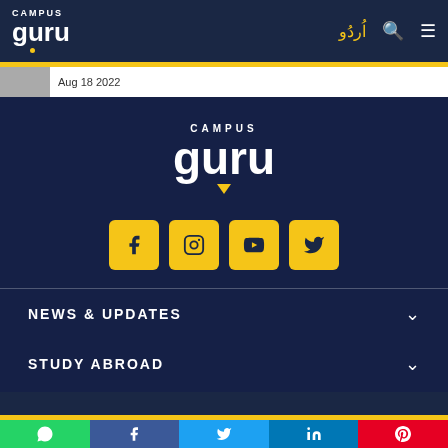Campus Guru — Navigation bar with logo, Urdu link, search, menu icons
Aug 18 2022
[Figure (logo): Campus Guru logo centered on dark overlay background — CAMPUS in small caps, guru in large bold white letters with yellow triangle accent below]
[Figure (infographic): Four yellow square social media buttons: Facebook, Instagram, YouTube, Twitter]
NEWS & UPDATES
STUDY ABROAD
MORE
Share bar: WhatsApp, Facebook, Twitter, LinkedIn, Pinterest